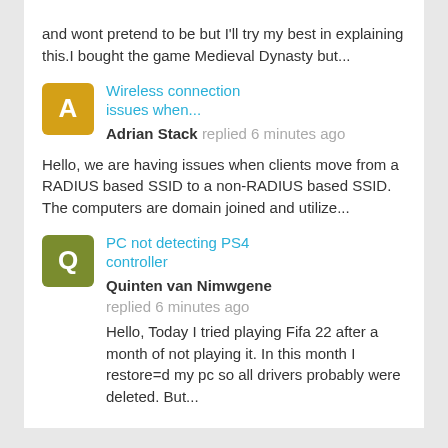and wont pretend to be but I'll try my best in explaining this.I bought the game Medieval Dynasty but...
Wireless connection issues when... Adrian Stack replied 6 minutes ago
Hello, we are having issues when clients move from a RADIUS based SSID to a non-RADIUS based SSID. The computers are domain joined and utilize...
PC not detecting PS4 controller
Quinten van Nimwgene replied 6 minutes ago
Hello, Today I tried playing Fifa 22 after a month of not playing it. In this month I restore=d my pc so all drivers probably were deleted. But...